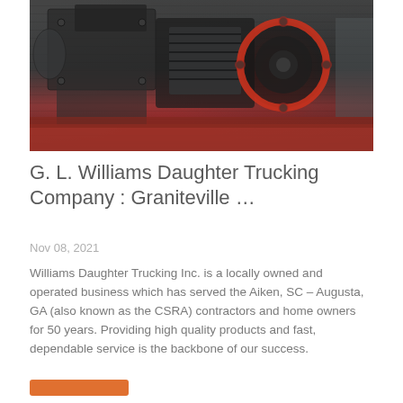[Figure (photo): Industrial machinery — heavy equipment with dark metal components and red/orange wheel hub or circular part, photographed on what appears to be a transport vehicle or flatbed. Dark grey and rust/red tones.]
G. L. Williams Daughter Trucking Company : Graniteville …
Nov 08, 2021
Williams Daughter Trucking Inc. is a locally owned and operated business which has served the Aiken, SC – Augusta, GA (also known as the CSRA) contractors and home owners for 50 years. Providing high quality products and fast, dependable service is the backbone of our success.